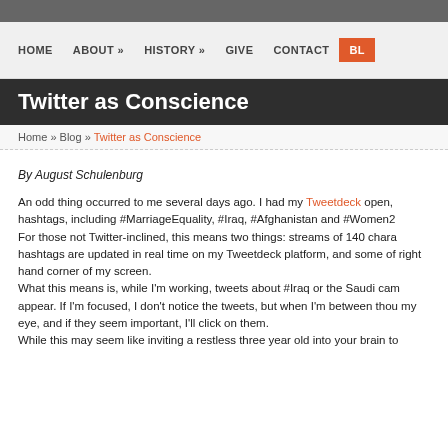HOME  ABOUT »  HISTORY »  GIVE  CONTACT  BL
Twitter as Conscience
Home » Blog » Twitter as Conscience
By August Schulenburg
An odd thing occurred to me several days ago. I had my Tweetdeck open, hashtags, including #MarriageEquality, #Iraq, #Afghanistan and #Women2. For those not Twitter-inclined, this means two things: streams of 140 chara hashtags are updated in real time on my Tweetdeck platform, and some of right hand corner of my screen. What this means is, while I'm working, tweets about #Iraq or the Saudi cam appear. If I'm focused, I don't notice the tweets, but when I'm between thou my eye, and if they seem important, I'll click on them. While this may seem like inviting a restless three year old into your brain to